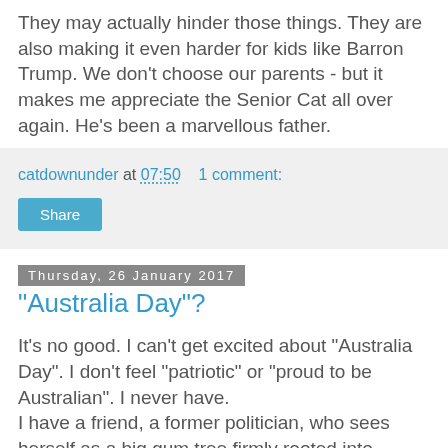They may actually hinder those things. They are also making it even harder for kids like Barron Trump. We don't choose our parents - but it makes me appreciate the Senior Cat all over again. He's been a marvellous father.
catdownunder at 07:50    1 comment:
Share
Thursday, 26 January 2017
"Australia Day"?
It's no good. I can't get excited about "Australia Day". I don't feel "patriotic" or "proud to be Australian". I never have.
I have a friend, a former politician, who sees herself as a big gum tree firmly rooted into Australian soil. She is passionately Australian. I wonder how that